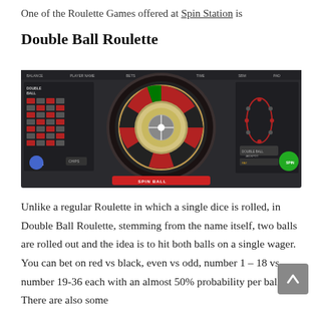One of the Roulette Games offered at Spin Station is
Double Ball Roulette
[Figure (screenshot): Screenshot of Double Ball Roulette game interface showing a roulette wheel in the center, a betting table on the left, and a secondary number panel on the right, with a 'SPIN BALL' button at the bottom.]
Unlike a regular Roulette in which a single dice is rolled, in Double Ball Roulette, stemming from the name itself, two balls are rolled out and the idea is to hit both balls on a single wager. You can bet on red vs black, even vs odd, number 1 – 18 vs number 19-36 each with an almost 50% probability per ball. There are also some